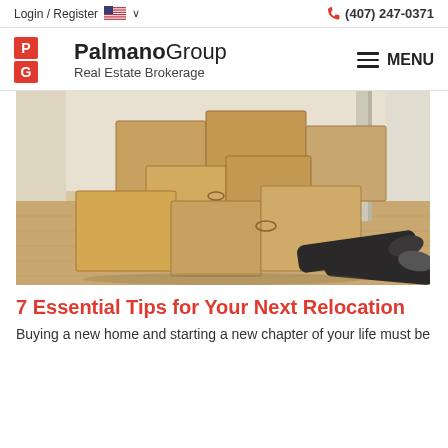Login / Register  🇺🇸 ∨   (407) 247-0371
[Figure (logo): PalmanoGroup Real Estate Brokerage logo with PG icon in red/orange square and hamburger menu icon with MENU label]
[Figure (photo): Person lying buried under a pile of cardboard moving boxes on a light wood floor]
7 Essential Tips for Your Next Relocation
Buying a new home and starting a new chapter of your life must be